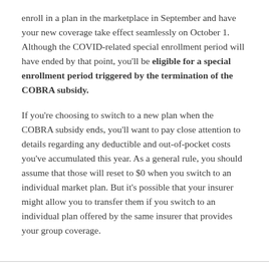enroll in a plan in the marketplace in September and have your new coverage take effect seamlessly on October 1. Although the COVID-related special enrollment period will have ended by that point, you'll be eligible for a special enrollment period triggered by the termination of the COBRA subsidy.
If you're choosing to switch to a new plan when the COBRA subsidy ends, you'll want to pay close attention to details regarding any deductible and out-of-pocket costs you've accumulated this year. As a general rule, you should assume that those will reset to $0 when you switch to an individual market plan. But it's possible that your insurer might allow you to transfer them if you switch to an individual plan offered by the same insurer that provides your group coverage.